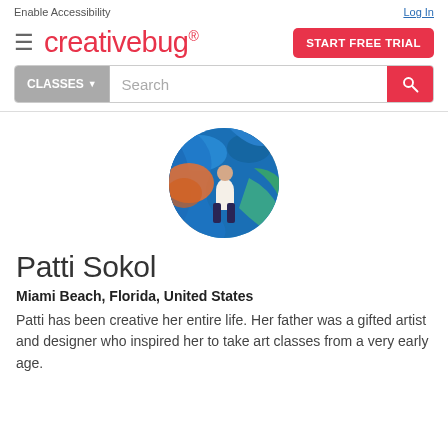Enable Accessibility   Log In
[Figure (logo): Creativebug logo in red/pink text with hamburger menu icon and START FREE TRIAL button]
[Figure (screenshot): Search bar with CLASSES dropdown and search icon button]
[Figure (photo): Circular profile photo of Patti Sokol standing in front of a colorful mural with blue and orange designs]
Patti Sokol
Miami Beach, Florida, United States
Patti has been creative her entire life. Her father was a gifted artist and designer who inspired her to take art classes from a very early age.